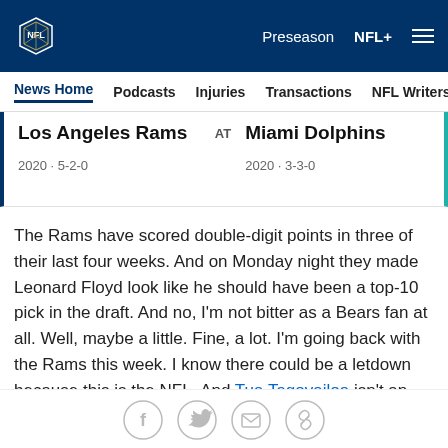NFL — Preseason  NFL+  ≡
News Home  Podcasts  Injuries  Transactions  NFL Writers  Se…
| Team | At | Team |
| --- | --- | --- |
| Los Angeles Rams | AT | Miami Dolphins |
| 2020 · 5-2-0 |  | 2020 · 3-3-0 |
The Rams have scored double-digit points in three of their last four weeks. And on Monday night they made Leonard Floyd look like he should have been a top-10 pick in the draft. And no, I'm not bitter as a Bears fan at all. Well, maybe a little. Fine, a lot. I'm going back with the Rams this week. I know there could be a letdown because this is the NFL. And Tua Tagovailoa isn't an ordinary rookie, so I'm not picking on him. I'm just
[Figure (infographic): Social sharing icons: Facebook, Twitter, Email, Link]